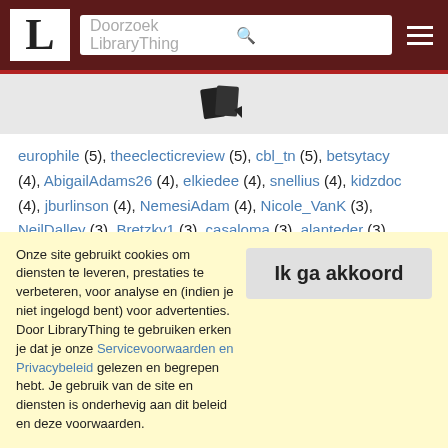LibraryThing — Doorzoek LibraryThing
[Figure (logo): LibraryThing books icon]
europhile (5), theeclecticreview (5), cbl_tn (5), betsytacy (4), AbigailAdams26 (4), elkiedee (4), snellius (4), kidzdoc (4), jburlinson (4), NemesiAdam (4), Nicole_VanK (3), NeilDalley (3), Bretzky1 (3), casaloma (3), alanteder (3), jasbro (3), peterbrown (3), GwynethM (3), norabelle414 (3), sdobie (3), foggidawn (3), Thomas.Guiot (3), leselotte (3),
Onze site gebruikt cookies om diensten te leveren, prestaties te verbeteren, voor analyse en (indien je niet ingelogd bent) voor advertenties. Door LibraryThing te gebruiken erken je dat je onze Servicevoorwaarden en Privacybeleid gelezen en begrepen hebt. Je gebruik van de site en diensten is onderhevig aan dit beleid en deze voorwaarden.